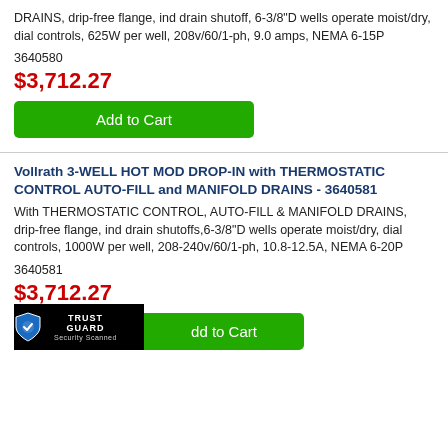DRAINS, drip-free flange, ind drain shutoff, 6-3/8"D wells operate moist/dry, dial controls, 625W per well, 208v/60/1-ph, 9.0 amps, NEMA 6-15P
3640580
$3,712.27
[Figure (other): Green Add to Cart button]
Vollrath 3-WELL HOT MOD DROP-IN with THERMOSTATIC CONTROL AUTO-FILL and MANIFOLD DRAINS - 3640581
With THERMOSTATIC CONTROL, AUTO-FILL & MANIFOLD DRAINS, drip-free flange, ind drain shutoffs,6-3/8"D wells operate moist/dry, dial controls, 1000W per well, 208-240v/60/1-ph, 10.8-12.5A, NEMA 6-20P
3640581
$3,712.27
[Figure (other): Green Add to Cart button partially overlapped by Trust Guard Security Scanned badge]